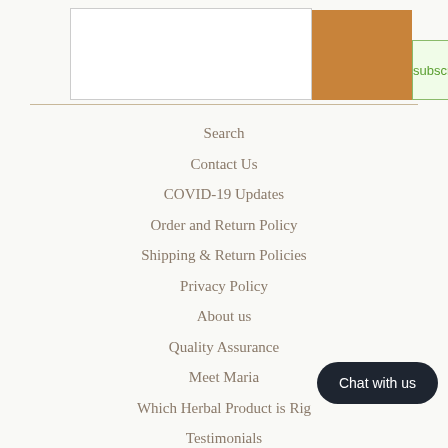[Figure (other): Top section with a white bordered box, a brown/tan filled square, and a green-bordered box with text 'subscribing!']
Search
Contact Us
COVID-19 Updates
Order and Return Policy
Shipping & Return Policies
Privacy Policy
About us
Quality Assurance
Meet Maria
Which Herbal Product is Rig…
Testimonials
Chat with us